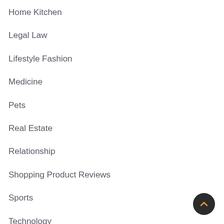Home Kitchen
Legal Law
Lifestyle Fashion
Medicine
Pets
Real Estate
Relationship
Shopping Product Reviews
Sports
Technology
Tours Travel